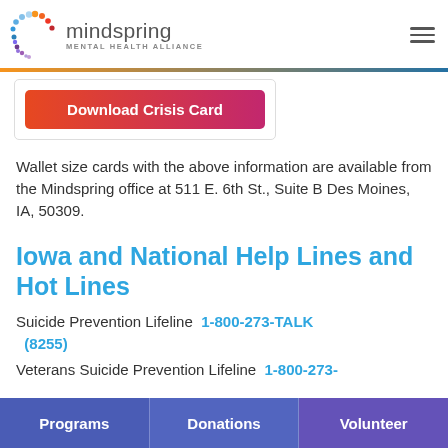mindspring MENTAL HEALTH ALLIANCE
[Figure (logo): Mindspring Mental Health Alliance logo with colorful crescent/dot design]
Download Crisis Card
Wallet size cards with the above information are available from the Mindspring office at 511 E. 6th St., Suite B Des Moines, IA, 50309.
Iowa and National Help Lines and Hot Lines
Suicide Prevention Lifeline  1-800-273-TALK (8255)
Veterans Suicide Prevention Lifeline  1-800-273-
Programs  Donations  Volunteer